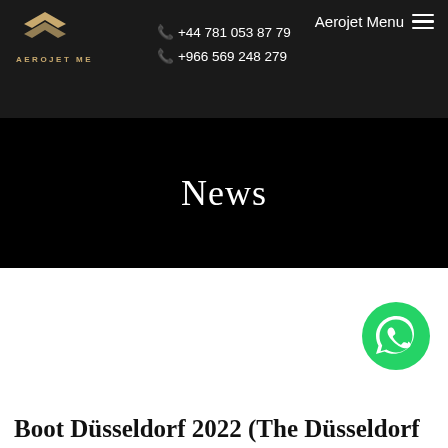AEROJET ME — Aerojet Menu
📞 +44 781 053 87 79
📞 +966 569 248 279
News
[Figure (logo): WhatsApp contact button (green circle with phone icon)]
Boot Düsseldorf 2022 (The Düsseldorf